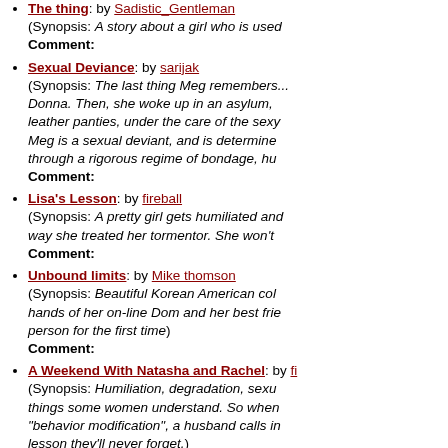The thing: by Sadistic_Gentleman (Synopsis: A story about a girl who is used...) Comment:
Sexual Deviance: by sarijak (Synopsis: The last thing Meg remembers... Donna. Then, she woke up in an asylum, leather panties, under the care of the sexy... Meg is a sexual deviant, and is determine... through a rigorous regime of bondage, hu...) Comment:
Lisa's Lesson: by fireball (Synopsis: A pretty girl gets humiliated and... way she treated her tormentor. She won't...) Comment:
Unbound limits: by Mike thomson (Synopsis: Beautiful Korean American col... hands of her on-line Dom and her best frie... person for the first time) Comment:
A Weekend With Natasha and Rachel: by fi... (Synopsis: Humiliation, degradation, sexu... things some women understand. So when... "behavior modification", a husband calls in... lesson they'll never forget.) Comment:
The Chalet: by Aiken (Synopsis: Maddy has found her dream jo... staffed by exotic women whose career pla... rough sex and death-defying fetish feats.) Comment:
Submission: by J Lewis